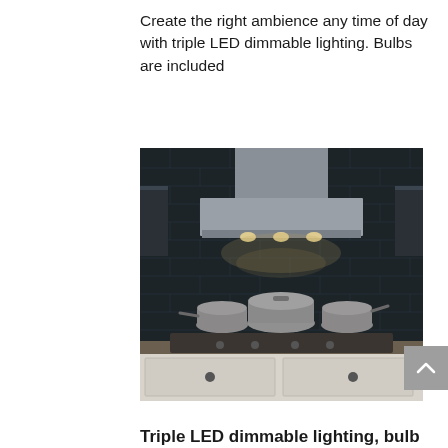Create the right ambience any time of day with triple LED dimmable lighting. Bulbs are included
[Figure (photo): Kitchen range hood in stainless steel mounted above a gas cooktop with three stainless steel pots, dark subway tile backsplash, LED under-cabinet lighting illuminated, and white cabinet drawers below the countertop.]
Triple LED dimmable lighting, bulbs...